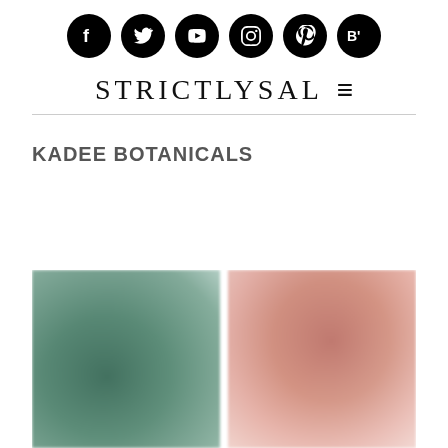[Figure (other): Row of six social media icons (Facebook, Twitter, YouTube, Instagram, Pinterest, Bloglovin) as white symbols on black circles]
STRICTLYSAL  ≡
KADEE BOTANICALS
[Figure (photo): Two blurred product photos side by side: left shows a dark teal/green botanical product, right shows a dusty rose/pink product on a white surface]